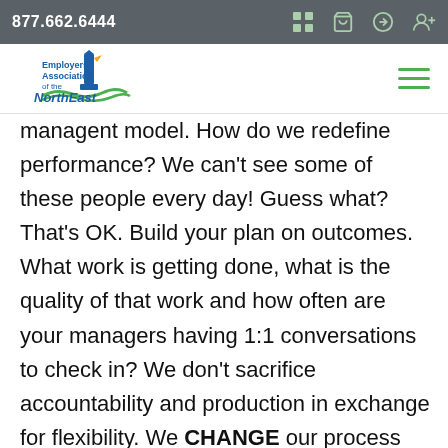877.662.6444
[Figure (logo): Employers Association of the NorthEast lighthouse logo with blue and green text and wave graphic]
management model. How do we redefine performance? We can't see some of these people every day! Guess what? That's OK. Build your plan on outcomes. What work is getting done, what is the quality of that work and how often are your managers having 1:1 conversations to check in? We don't sacrifice accountability and production in exchange for flexibility. We CHANGE our process for how we measure results.